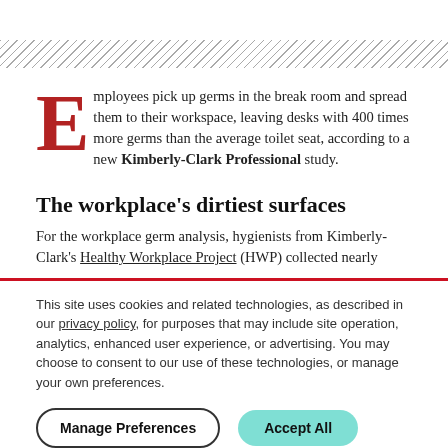[Figure (other): Diagonal hatching decorative bar]
Employees pick up germs in the break room and spread them to their workspace, leaving desks with 400 times more germs than the average toilet seat, according to a new Kimberly-Clark Professional study.
The workplace's dirtiest surfaces
For the workplace germ analysis, hygienists from Kimberly-Clark's Healthy Workplace Project (HWP) collected nearly
This site uses cookies and related technologies, as described in our privacy policy, for purposes that may include site operation, analytics, enhanced user experience, or advertising. You may choose to consent to our use of these technologies, or manage your own preferences.
Manage Preferences
Accept All